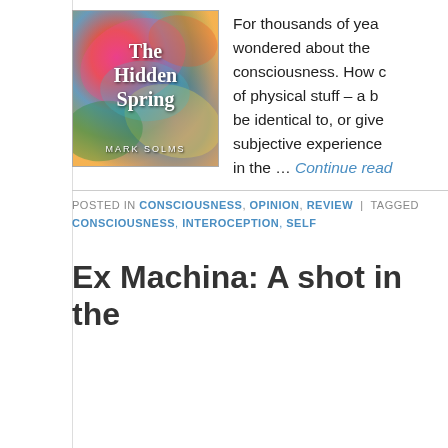[Figure (illustration): Book cover of 'The Hidden Spring' by Mark Solms, featuring colorful swirling abstract art in pinks, oranges, greens, yellows, and blues]
For thousands of years, humans have wondered about the nature of consciousness. How can something made of physical stuff – a brain – give rise to, be identical to, or give rise to our subjective experience? in the ... Continue reading
POSTED IN CONSCIOUSNESS, OPINION, REVIEW | TAGGED
CONSCIOUSNESS, INTEROCEPTION, SELF
Ex Machina: A shot in the